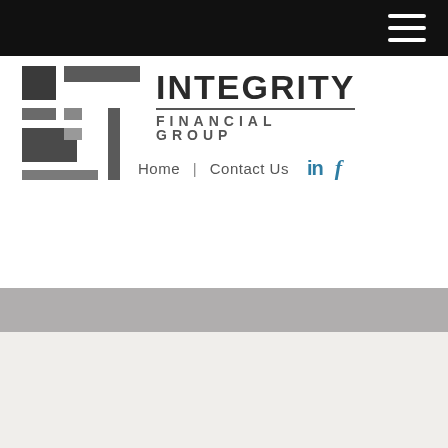Navigation bar with hamburger menu
[Figure (logo): Integrity Financial Group logo with stylized IF monogram and company name]
Home  |  Contact Us
[Figure (illustration): Grey banner/divider band]
[Figure (photo): Photo of a man (financial advisor) on a light beige background, with a small blue-grey decorative box in the lower right]